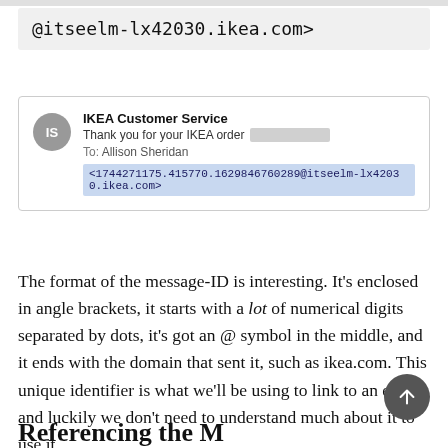@itseelm-lx42030.ikea.com>
[Figure (screenshot): Email header screenshot showing IKEA Customer Service email with sender avatar 'IS', subject 'Thank you for your IKEA order [redacted]', addressed To: Allison Sheridan, with highlighted message-ID: <1744271175.415770.1629846760289@itseelm-lx42030.ikea.com>]
The format of the message-ID is interesting. It’s enclosed in angle brackets, it starts with a lot of numerical digits separated by dots, it’s got an @ symbol in the middle, and it ends with the domain that sent it, such as ikea.com. This unique identifier is what we’ll be using to link to an email, and luckily we don’t need to understand much about it to use it.
Referencing the Message-ID